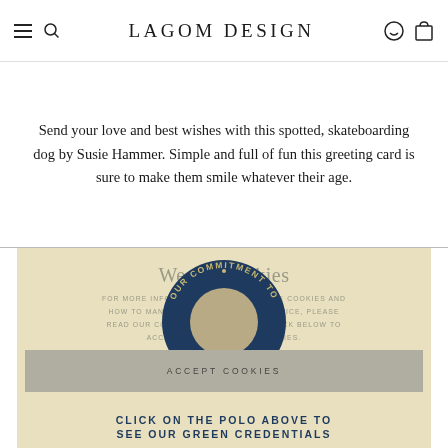LAGOM DESIGN
Send your love and best wishes with this spotted, skateboarding dog by Susie Hammer. Simple and full of fun this greeting card is sure to make them smile whatever their age.
We use cookies
FOR MORE INFORMATION ON HOW WE USE COOKIES AND HOW TO MANAGE COOKIES ON YOUR DEVICE, PLEASE READ OUR COOKIES POLICY. PLEASE CLICK BELOW TO ACCEPT THE USE OF OUR COOKIES.
[Figure (logo): Circular badge with text 'OUR COMMITMENT TO SUSTAINABILITY' arranged in a circle on dark navy background]
ACCEPT COOKIES
CLICK ON THE POLO ABOVE TO SEE OUR GREEN CREDENTIALS